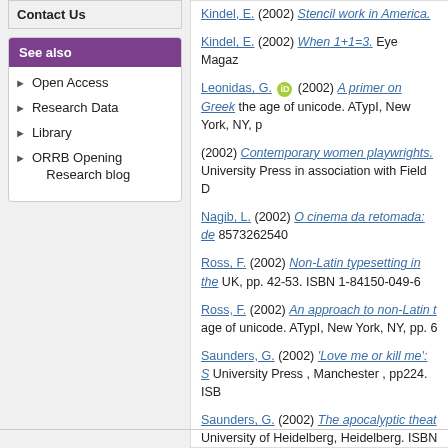Contact Us
See also
Open Access
Research Data
Library
ORRB Opening Research blog
Kindel, E. (2002) Stencil work in America.
Kindel, E. (2002) When 1+1=3. Eye Magaz
Leonidas, G. [ORCID] (2002) A primer on Greek the age of unicode. ATypI, New York, NY, p
(2002) Contemporary women playwrights. University Press in association with Field D
Nagib, L. (2002) O cinema da retomada: de 8573262540
Ross, F. (2002) Non-Latin typesetting in the UK, pp. 42-53. ISBN 1-84150-049-6
Ross, F. (2002) An approach to non-Latin t age of unicode. ATypI, New York, NY, pp. 6
Saunders, G. (2002) 'Love me or kill me': S University Press , Manchester , pp224. ISB
Saunders, G. (2002) The apocalyptic theat University of Heidelberg, Heidelberg. ISBN